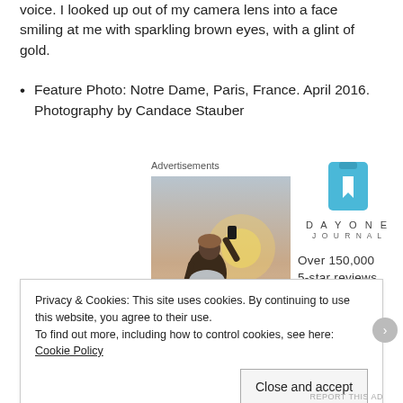voice. I looked up out of my camera lens into a face smiling at me with sparkling brown eyes, with a glint of gold.
Feature Photo: Notre Dame, Paris, France. April 2016. Photography by Candace Stauber
Advertisements
[Figure (photo): Photo advertisement showing a person from behind taking a photo at sunset, next to a Day One Journal ad with logo and text 'Over 150,000 5-star reviews']
Privacy & Cookies: This site uses cookies. By continuing to use this website, you agree to their use.
To find out more, including how to control cookies, see here: Cookie Policy
Close and accept
REPORT THIS AD